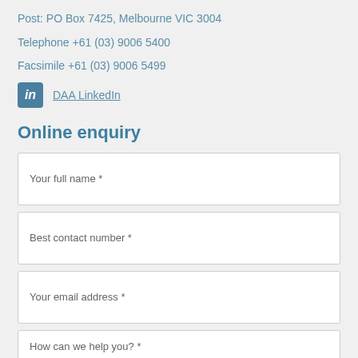Post: PO Box 7425, Melbourne VIC 3004
Telephone +61 (03) 9006 5400
Facsimile +61 (03) 9006 5499
DAA LinkedIn
Online enquiry
Your full name *
Best contact number *
Your email address *
How can we help you? *